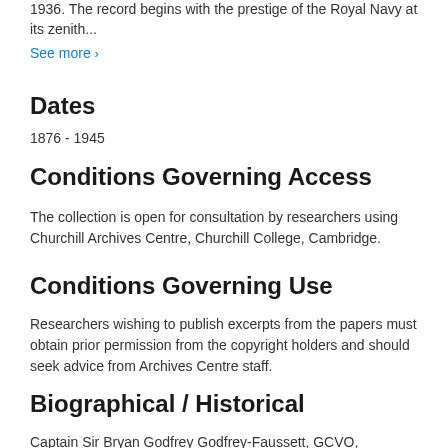1936. The record begins with the prestige of the Royal Navy at its zenith...
See more >
Dates
1876 - 1945
Conditions Governing Access
The collection is open for consultation by researchers using Churchill Archives Centre, Churchill College, Cambridge.
Conditions Governing Use
Researchers wishing to publish excerpts from the papers must obtain prior permission from the copyright holders and should seek advice from Archives Centre staff.
Biographical / Historical
Captain Sir Bryan Godfrey Godfrey-Faussett, GCVO,